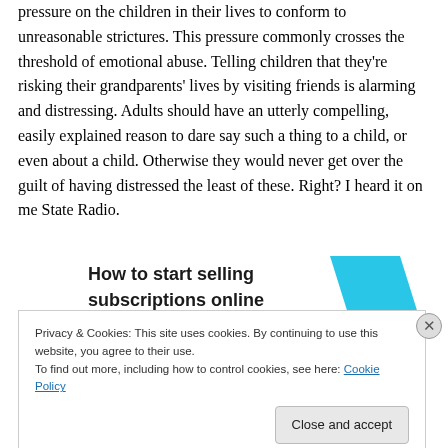pressure on the children in their lives to conform to unreasonable strictures. This pressure commonly crosses the threshold of emotional abuse. Telling children that they're risking their grandparents' lives by visiting friends is alarming and distressing. Adults should have an utterly compelling, easily explained reason to dare say such a thing to a child, or even about a child. Otherwise they would never get over the guilt of having distressed the least of these. Right? I heard it on me State Radio.
[Figure (other): Advertisement banner: 'How to start selling subscriptions online' with a cyan geometric shape on the right]
Privacy & Cookies: This site uses cookies. By continuing to use this website, you agree to their use.
To find out more, including how to control cookies, see here: Cookie Policy